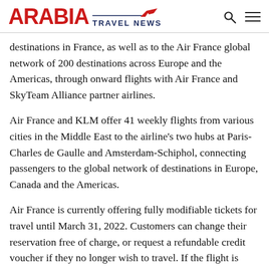ARABIA TRAVEL NEWS
destinations in France, as well as to the Air France global network of 200 destinations across Europe and the Americas, through onward flights with Air France and SkyTeam Alliance partner airlines.
Air France and KLM offer 41 weekly flights from various cities in the Middle East to the airline’s two hubs at Paris-Charles de Gaulle and Amsterdam-Schiphol, connecting passengers to the global network of destinations in Europe, Canada and the Americas.
Air France is currently offering fully modifiable tickets for travel until March 31, 2022. Customers can change their reservation free of charge, or request a refundable credit voucher if they no longer wish to travel. If the flight is cancelled by the airline, customers have the choice of